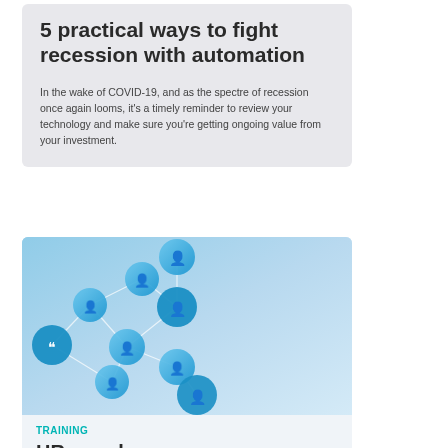5 practical ways to fight recession with automation
In the wake of COVID-19, and as the spectre of recession once again looms, it's a timely reminder to review your technology and make sure you're getting ongoing value from your investment.
[Figure (illustration): Network of blue circular nodes with person/user icons connected by white lines on a light blue background.]
TRAINING
HR people new